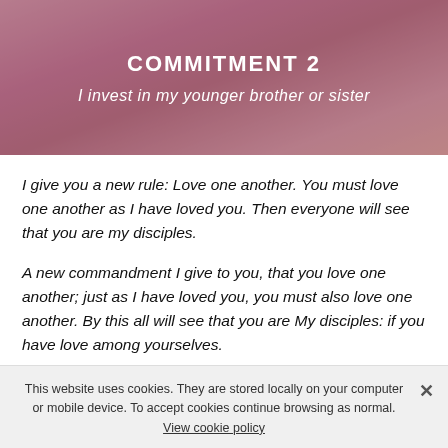COMMITMENT 2
I invest in my younger brother or sister
I give you a new rule: Love one another. You must love one another as I have loved you. Then everyone will see that you are my disciples.
A new commandment I give to you, that you love one another; just as I have loved you, you must also love one another. By this all will see that you are My disciples: if you have love among yourselves.
John 13:34-35
Love one another as brothers and sisters...
This website uses cookies. They are stored locally on your computer or mobile device. To accept cookies continue browsing as normal. View cookie policy